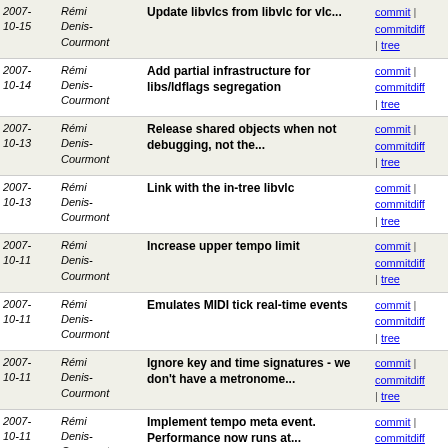| Date | Author | Message | Links |
| --- | --- | --- | --- |
| 2007-10-15 | Rémi Denis-Courmont | Update libvlcs from libvlc for vlc... | commit | commitdiff | tree |
| 2007-10-14 | Rémi Denis-Courmont | Add partial infrastructure for libs/ldflags segregation | commit | commitdiff | tree |
| 2007-10-13 | Rémi Denis-Courmont | Release shared objects when not debugging, not the... | commit | commitdiff | tree |
| 2007-10-13 | Rémi Denis-Courmont | Link with the in-tree libvlc | commit | commitdiff | tree |
| 2007-10-11 | Rémi Denis-Courmont | Increase upper tempo limit | commit | commitdiff | tree |
| 2007-10-11 | Rémi Denis-Courmont | Emulates MIDI tick real-time events | commit | commitdiff | tree |
| 2007-10-11 | Rémi Denis-Courmont | Ignore key and time signatures - we don't have a metronome... | commit | commitdiff | tree |
| 2007-10-11 | Rémi Denis-Courmont | Implement tempo meta event. Performance now runs at... | commit | commitdiff | tree |
| 2007-10-11 | Rémi Denis-Courmont | Boundary check | commit | commitdiff | tree |
| 2007- | Rémi | Meta event payload may be non-ASCII. | commit | commitdiff |